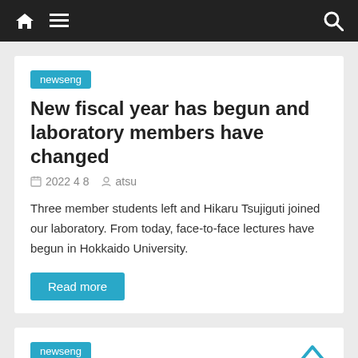Navigation bar with home, menu, and search icons
newseng
New fiscal year has begun and laboratory members have changed
2022 4 8   atsu
Three member students left and Hikaru Tsujiguti joined our laboratory. From today, face-to-face lectures have begun in Hokkaido University.
Read more
newseng
Three our laboratory member